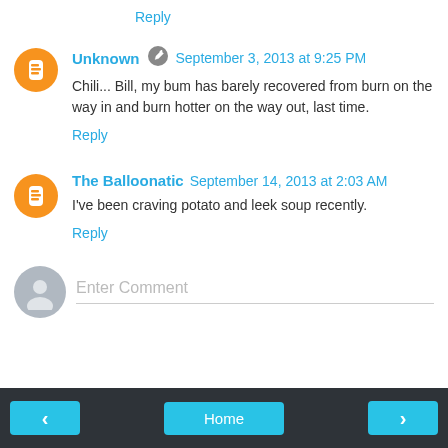Reply
Unknown  September 3, 2013 at 9:25 PM
Chili... Bill, my bum has barely recovered from burn on the way in and burn hotter on the way out, last time.
Reply
The Balloonatic  September 14, 2013 at 2:03 AM
I've been craving potato and leek soup recently.
Reply
Enter Comment
< Home >